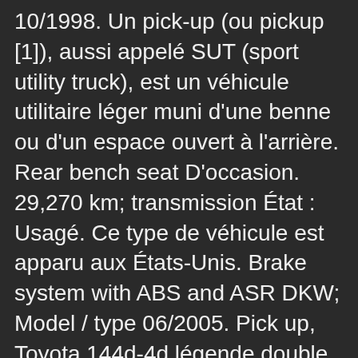10/1998. Un pick-up (ou pickup [1]), aussi appelé SUT (sport utility truck), est un véhicule utilitaire léger muni d'une benne ou d'un espace ouvert à l'arrière. Rear bench seat D'occasion. 29,270 km; transmission État : Usagé. Ce type de véhicule est apparu aux États-Unis. Brake system with ABS and ASR DKW; Model / type 06/2005. Pick up, Toyota 144d-4d légende double cabine 4wd rc2 150, 4x4 - s.u.v, 09/2016, 4 portes, 26000 € Toyota légende avec hardtop plus crochet d'attelage contrôle technique OK a. annonces-automobile.com Il y a 5 jours. Vous êtes localisé dans le : X. Toutes les informations sur les voitures Pick-up répertoriées par marque et modèle sur le site de Caradisiac.com 7 à la une Renault Master R3500 RJ L3 2.3 125